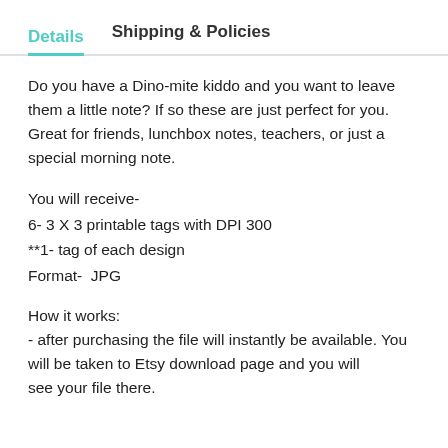Details   Shipping & Policies
Do you have a Dino-mite kiddo and you want to leave them a little note? If so these are just perfect for you. Great for friends, lunchbox notes, teachers, or just a special morning note.
You will receive-
6- 3 X 3 printable tags with DPI 300
**1- tag of each design
Format-  JPG
How it works:
- after purchasing the file will instantly be available. You will be taken to Etsy download page and you will see your file there.